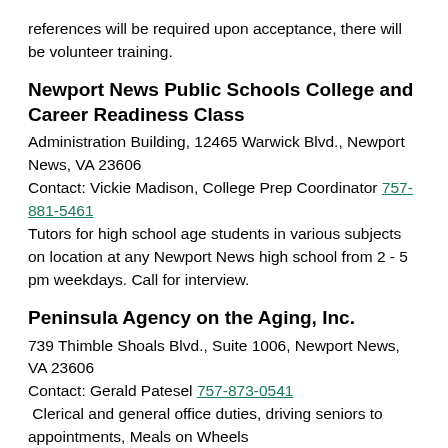references will be required upon acceptance, there will be volunteer training.
Newport News Public Schools College and Career Readiness Class
Administration Building, 12465 Warwick Blvd., Newport News, VA 23606
Contact: Vickie Madison, College Prep Coordinator 757-881-5461
Tutors for high school age students in various subjects on location at any Newport News high school from 2 - 5 pm weekdays. Call for interview.
Peninsula Agency on the Aging, Inc.
739 Thimble Shoals Blvd., Suite 1006, Newport News, VA 23606
Contact: Gerald Patesel 757-873-0541
 Clerical and general office duties, driving seniors to appointments, Meals on Wheels